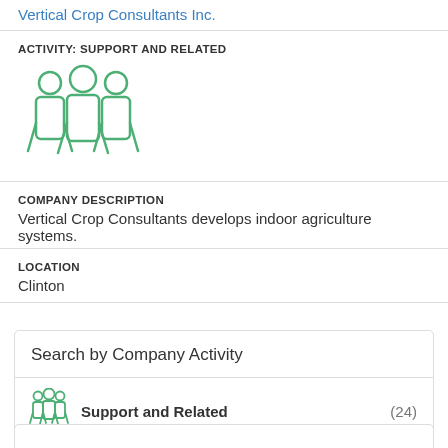Vertical Crop Consultants Inc.
ACTIVITY: SUPPORT AND RELATED
[Figure (illustration): Green icon of three human figures representing a group/team (Support and Related activity category)]
COMPANY DESCRIPTION
Vertical Crop Consultants develops indoor agriculture systems.
LOCATION
Clinton
Search by Company Activity
[Figure (illustration): Green icon of three human figures]
Support and Related
(24)